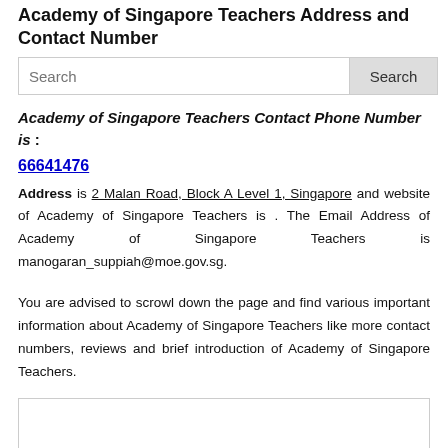Academy of Singapore Teachers Address and Contact Number
[Figure (screenshot): Search bar with text input field and Search button]
Academy of Singapore Teachers Contact Phone Number is : 66641476
Address is 2 Malan Road, Block A Level 1, Singapore and website of Academy of Singapore Teachers is . The Email Address of Academy of Singapore Teachers is manogaran_suppiah@moe.gov.sg.
You are advised to scrowl down the page and find various important information about Academy of Singapore Teachers like more contact numbers, reviews and brief introduction of Academy of Singapore Teachers.
[Figure (other): Empty bordered box at the bottom of the page]